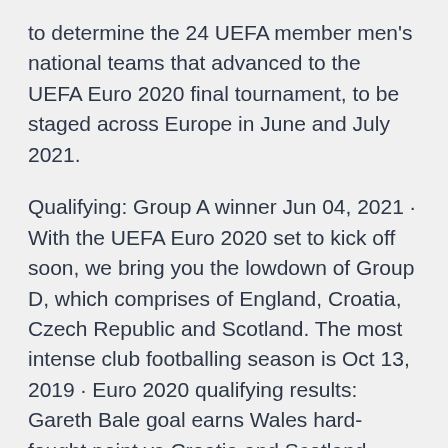to determine the 24 UEFA member men's national teams that advanced to the UEFA Euro 2020 final tournament, to be staged across Europe in June and July 2021.
Qualifying: Group A winner Jun 04, 2021 · With the UEFA Euro 2020 set to kick off soon, we bring you the lowdown of Group D, which comprises of England, Croatia, Czech Republic and Scotland. The most intense club footballing season is Oct 13, 2019 · Euro 2020 qualifying results: Gareth Bale goal earns Wales hard-fought point vs Croatia and Scotland thrash San Marino By talkSPORT 13th October 2019, 9:47 pm Apr 27, 2021 · Group A. Won 5 - 3 against Kosovo on September 10th 2019. Lost 1 - 2 against Czech Republic on October 11th 2019. Won 6 - 0 against Bulgaria on October 14th 2019. Won 7 - 0 against Montenegro on